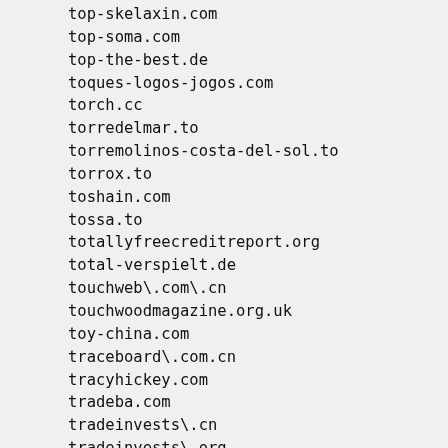top-skelaxin.com
top-soma.com
top-the-best.de
toques-logos-jogos.com
torch.cc
torredelmar.to
torremolinos-costa-del-sol.to
torrox.to
toshain.com
tossa.to
totallyfreecreditreport.org
total-verspielt.de
touchweb\.com\.cn
touchwoodmagazine.org.uk
toy-china.com
traceboard\.com.cn
tracyhickey.com
tradeba.com
tradeinvests\.cn
tradeinvests\.org
traffic4bidz\.com
training-one.co.uk
tran4u.com
tranny-pic-free.com
trannysexmovie.com